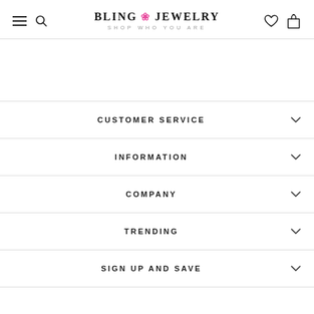BLING JEWELRY — SHOP WHO YOU ARE
CUSTOMER SERVICE
INFORMATION
COMPANY
TRENDING
SIGN UP AND SAVE